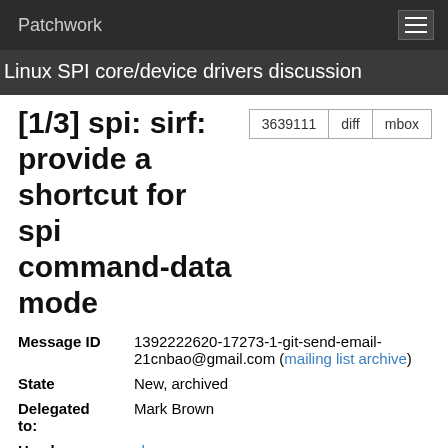Patchwork
Linux SPI core/device drivers discussion
[1/3] spi: sirf: provide a shortcut for spi command-data mode
| Field | Value |
| --- | --- |
| Message ID | 1392222620-17273-1-git-send-email-21cnbao@gmail.com (mailing list archive) |
| State | New, archived |
| Delegated to: | Mark Brown |
| Headers | show |
Commit Message